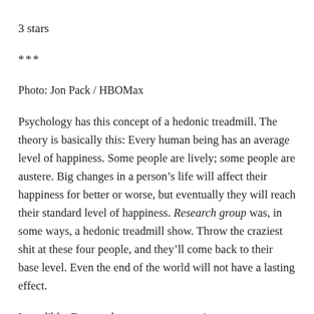3 stars
***
Photo: Jon Pack / HBOMax
Psychology has this concept of a hedonic treadmill. The theory is basically this: Every human being has an average level of happiness. Some people are lively; some people are austere. Big changes in a person’s life will affect their happiness for better or worse, but eventually they will reach their standard level of happiness. Research group was, in some ways, a hedonic treadmill show. Throw the craziest shit at these four people, and they’ll come back to their base level. Even the end of the world will not have a lasting effect.
Incredibly, Dory and company once again manage to escape blame. They bring about the end of humanity (at least for the